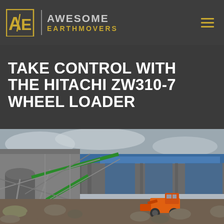AWESOME EARTHMOVERS
TAKE CONTROL WITH THE HITACHI ZW310-7 WHEEL LOADER
[Figure (photo): Industrial quarry or crushing plant site showing conveyor belts, processing equipment, and an orange Hitachi wheel loader working among large rocks and aggregate. Blue-roofed industrial structures visible in the background.]